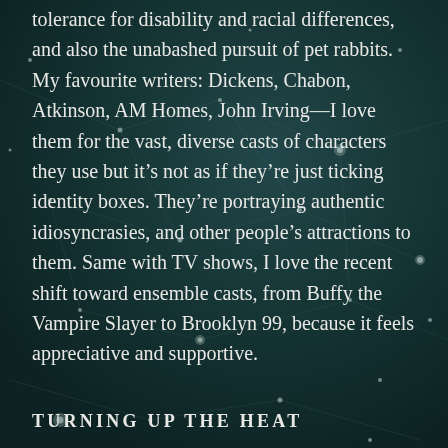tolerance for disability and racial differences, and also the unabashed pursuit of pet rabbits. My favourite writers: Dickens, Chabon, Atkinson, AM Homes, John Irving—I love them for the vast, diverse casts of characters they use but it's not as if they're just ticking identity boxes. They're portraying authentic idiosyncrasies, and other people's attractions to them. Same with TV shows, I love the recent shift toward ensemble casts, from Buffy the Vampire Slayer to Brooklyn 99, because it feels appreciative and supportive.
TURNING UP THE HEAT
I have a great need for the chemistry of writing